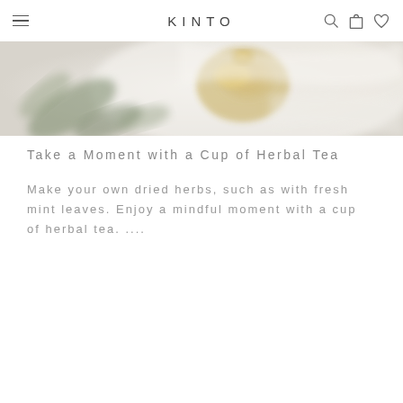KINTO
[Figure (photo): Close-up photo of a golden/brass teapot lid or tea strainer with soft blurred background containing leaves and white fabric]
Take a Moment with a Cup of Herbal Tea
Make your own dried herbs, such as with fresh mint leaves. Enjoy a mindful moment with a cup of herbal tea. ....